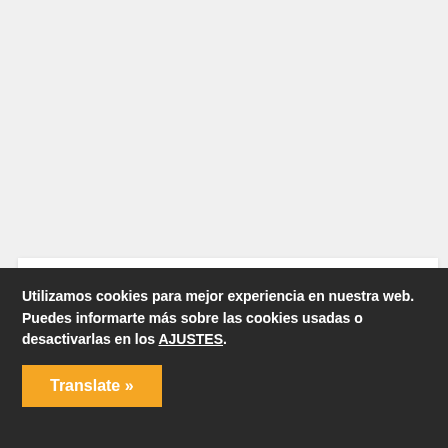Deja un comentario
Tu dirección de correo electrónico no será publicada. Los campos obligatorios están marcados con *
Utilizamos cookies para mejor experiencia en nuestra web. Puedes informarte más sobre las cookies usadas o desactivarlas en los AJUSTES.
Translate »